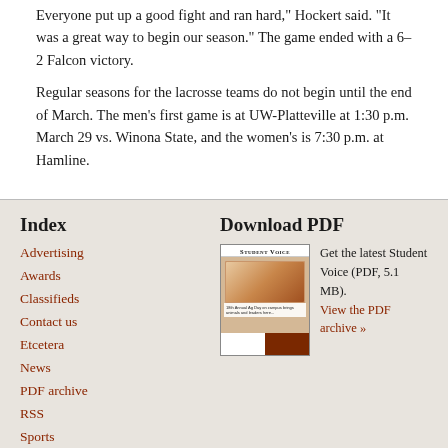Everyone put up a good fight and ran hard," Hockert said. "It was a great way to begin our season." The game ended with a 6-2 Falcon victory.
Regular seasons for the lacrosse teams do not begin until the end of March. The men's first game is at UW-Platteville at 1:30 p.m. March 29 vs. Winona State, and the women's is 7:30 p.m. at Hamline.
Index
Advertising
Awards
Classifieds
Contact us
Etcetera
News
PDF archive
RSS
Sports
Viewpoints
Give to the Voice
Download PDF
[Figure (other): Thumbnail of Student Voice newspaper front page]
Get the latest Student Voice (PDF, 5.1 MB). View the PDF archive »
Student Voice